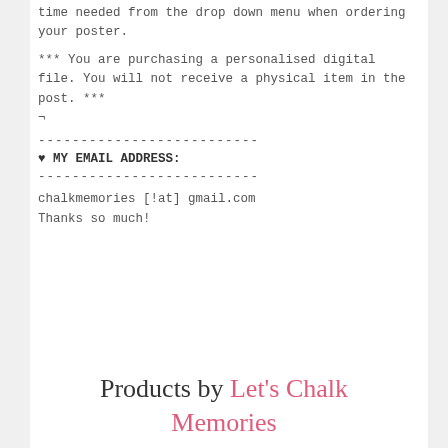time needed from the drop down menu when ordering your poster.
*** You are purchasing a personalised digital file. You will not receive a physical item in the post. *** ¬
--------------------------
♥ MY EMAIL ADDRESS:
--------------------------
chalkmemories [!at] gmail.com
Thanks so much!
Products by Let's Chalk Memories